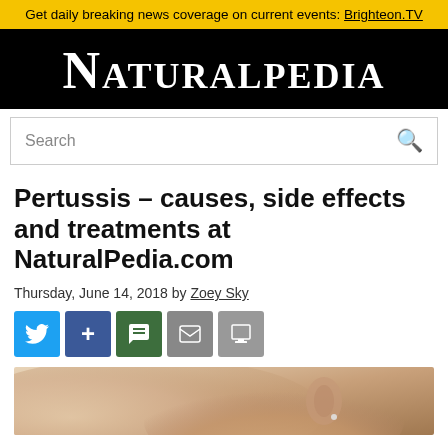Get daily breaking news coverage on current events: Brighteon.TV
NATURALPEDIA
Search
Pertussis – causes, side effects and treatments at NaturalPedia.com
Thursday, June 14, 2018 by Zoey Sky
[Figure (photo): Close-up photo of a person's ear and side of face, skin-toned background, partially cropped at bottom of page]
[Figure (infographic): Social sharing buttons: Twitter (blue), Plus/Facebook (dark blue), Chat (dark green), Mail (grey), Print (grey)]